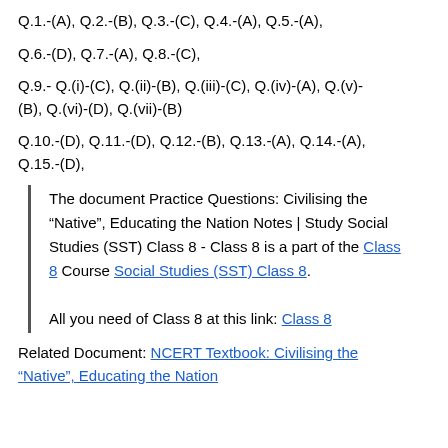Q.1.-(A), Q.2.-(B), Q.3.-(C), Q.4.-(A), Q.5.-(A),
Q.6.-(D), Q.7.-(A), Q.8.-(C),
Q.9.- Q.(i)-(C), Q.(ii)-(B), Q.(iii)-(C), Q.(iv)-(A), Q.(v)-(B), Q.(vi)-(D), Q.(vii)-(B)
Q.10.-(D), Q.11.-(D), Q.12.-(B), Q.13.-(A), Q.14.-(A), Q.15.-(D),
The document Practice Questions: Civilising the “Native”, Educating the Nation Notes | Study Social Studies (SST) Class 8 - Class 8 is a part of the Class 8 Course Social Studies (SST) Class 8. All you need of Class 8 at this link: Class 8
Related Document: NCERT Textbook: Civilising the “Native”, Educating the Nation